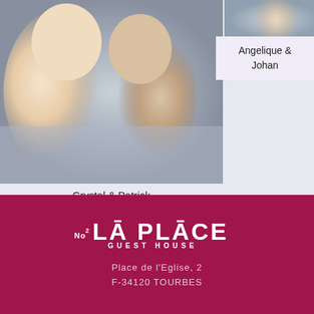[Figure (photo): Photo of smiling couple Crystal & Patrick]
Crystal & Patrick
[Figure (photo): Photo of Angelique & Johan]
Angelique & Johan
[Figure (logo): No2 La Place Guest House logo]
Place de l'Eglise, 2
F-34120 TOURBES
FIND US
CONTACT
SANITARY PROTOCOL